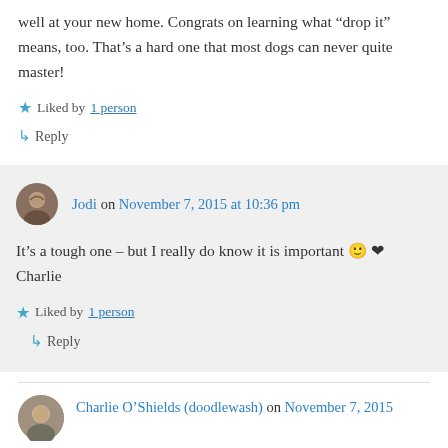well at your new home. Congrats on learning what “drop it” means, too. That’s a hard one that most dogs can never quite master!
★ Liked by 1 person
↳ Reply
Jodi on November 7, 2015 at 10:36 pm
It’s a tough one – but I really do know it is important 🙂 ❤ Charlie
★ Liked by 1 person
↳ Reply
Charlie O’Shields (doodlewash) on November 7, 2015